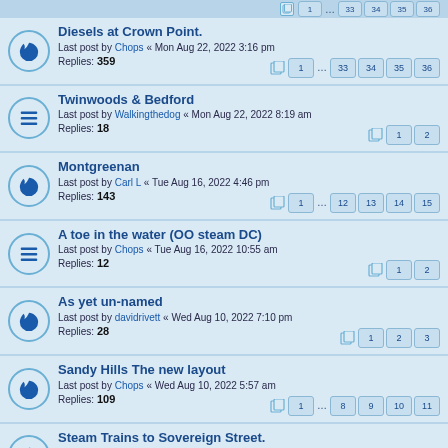Diesels at Crown Point. Last post by Chops « Mon Aug 22, 2022 3:16 pm Replies: 359 Pages: 1 ... 33 34 35 36
Twinwoods & Bedford Last post by Walkingthedog « Mon Aug 22, 2022 8:19 am Replies: 18 Pages: 1 2
Montgreenan Last post by Carl L « Tue Aug 16, 2022 4:46 pm Replies: 143 Pages: 1 ... 12 13 14 15
A toe in the water (OO steam DC) Last post by Chops « Tue Aug 16, 2022 10:55 am Replies: 12 Pages: 1 2
As yet un-named Last post by davidrivett « Wed Aug 10, 2022 7:10 pm Replies: 28 Pages: 1 2 3
Sandy Hills The new layout Last post by Chops « Wed Aug 10, 2022 5:57 am Replies: 109 Pages: 1 ... 8 9 10 11
Steam Trains to Sovereign Street. Last post by glencairn « Fri Jul 29, 2022 10:20 am Replies: 436 Pages: 1 ... 41 42 43 44
Henley: Moving Goods and Brits Last post by Chops « Fri Jul 22, 2022 6:03 am